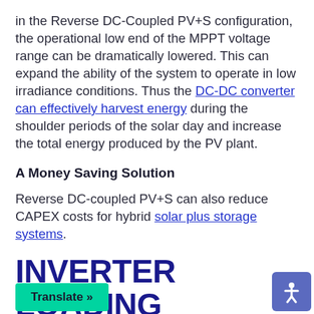in the Reverse DC-Coupled PV+S configuration, the operational low end of the MPPT voltage range can be dramatically lowered. This can expand the ability of the system to operate in low irradiance conditions. Thus the DC-DC converter can effectively harvest energy during the shoulder periods of the solar day and increase the total energy produced by the PV plant.
A Money Saving Solution
Reverse DC-coupled PV+S can also reduce CAPEX costs for hybrid solar plus storage systems.
INVERTER LOADING RATIOS